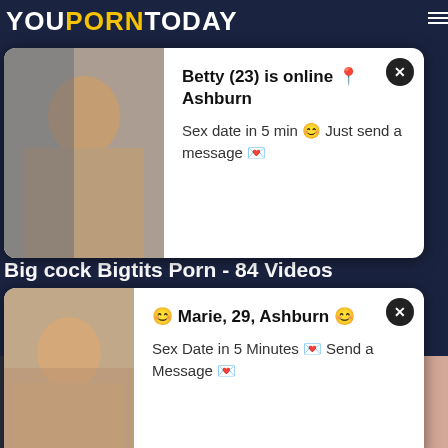YOUPORNTODAY
[Figure (screenshot): Popup notification with photo: Betty (23) is online Ashburn. Sex date in 5 min Just send a message]
Big cock Bigtits Porn - 84 Videos
[Figure (screenshot): Popup notification with photo: Marie, 29, Ashburn. Sex Date in 5 Minutes Send a Message]
jennifer lawrence sperm, uk trinity pornstar, xxvi hd, xxx, xxxvideos de putas, yyoujizz
[Figure (screenshot): Video thumbnail left: HD badge, duration 5:41, 50% rating]
[Figure (screenshot): Video thumbnail right: HD badge, duration 10:01]